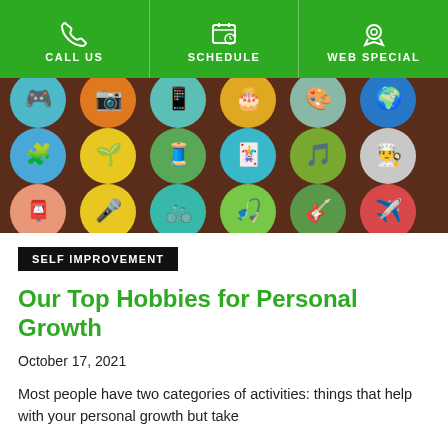CALL US | SCHEDULE | WEB SPECIAL
[Figure (illustration): Colorful flat design hobby icons arranged in circular badges on a dark brown background. Icons include gaming controller, camera, smartphone, chess, palette, puzzle pieces, gardening tools, sewing, playing cards, turntable, chef hat, stamp, microphone, bicycle, fishing, guitar, airplane, telescope, 3D glasses, chess knight, tools, drone, headphones, soccer ball, and more.]
SELF IMPROVEMENT
Our Top Hobbies for Personal Growth
October 17, 2021
Most people have two categories of activities: things that help with your personal growth but take